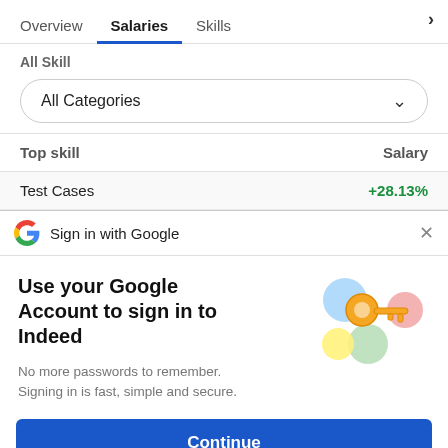Overview | Salaries | Skills
All Skill
All Categories
| Top skill | Salary |
| --- | --- |
| Test Cases | +28.13% |
Sign in with Google
Use your Google Account to sign in to Indeed
No more passwords to remember. Signing in is fast, simple and secure.
[Figure (illustration): Colorful illustration of a key with circular shapes in blue, yellow, green, and pink/red]
Continue